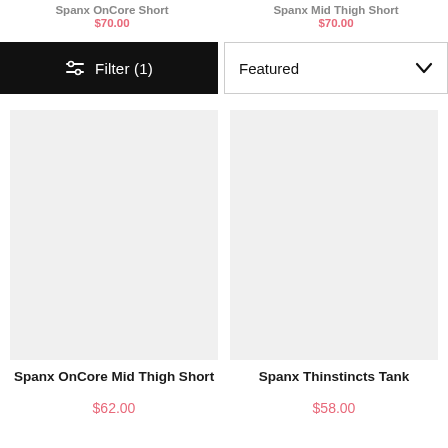Spanx OnCore Mid Thigh Short — partially visible price at top
Spanx Mid Thigh Short — partially visible price at top
[Figure (screenshot): Filter (1) button — black bar with sliders icon and text 'Filter (1)']
[Figure (screenshot): Featured dropdown sort selector with chevron]
[Figure (photo): Product image placeholder for Spanx OnCore Mid Thigh Short]
[Figure (photo): Product image placeholder for Spanx Thinstincts Tank]
Spanx OnCore Mid Thigh Short
$62.00
Spanx Thinstincts Tank
$58.00